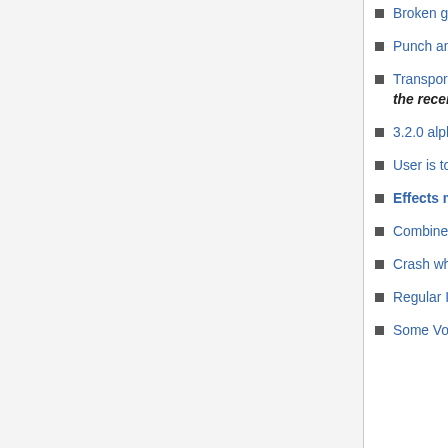Broken grid in Filter Curve EQ effect on startup #2853
Punch and roll: tracks are not played in sync. #2162
Transport toolbar. The play button a bit truncated in recording mode #2519 - this appears to be fixed with the recent changes to the button icons
3.2.0 alpha mac universal build opens in German on my Mac #2493
User is told that AU and LADSPA plug-ins are "incompatible" #2982
Effects menu entries #3076 plugin versus plug-in
Combine the Mixer toolbar with the meter toolbars #2779
Crash when clicking Debug in Nyquist plug-in #3232
Regular Interval Labels crashes Audacity #3247
Some Volume and Compression effects ignore Presets - both factory default and user presets #3353